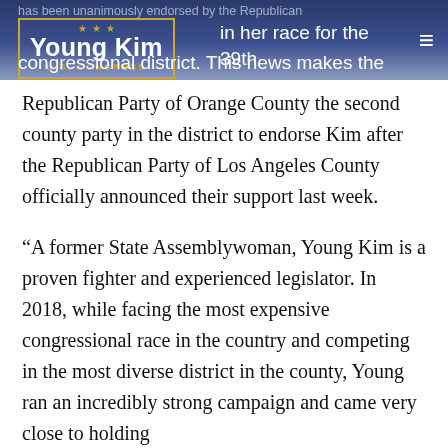has been unanimously endorsed by the Republican Party of Orange County in her race for the 39th congressional district. This news makes the
[Figure (logo): Young Kim U.S. Congress campaign logo — gold-bordered box with three gold stars, white bold text 'Young Kim', gold subtitle 'U.S. CONGRESS']
Republican Party of Orange County the second county party in the district to endorse Kim after the Republican Party of Los Angeles County officially announced their support last week.
“A former State Assemblywoman, Young Kim is a proven fighter and experienced legislator. In 2018, while facing the most expensive congressional race in the country and competing in the most diverse district in the county, Young ran an incredibly strong campaign and came very close to holding